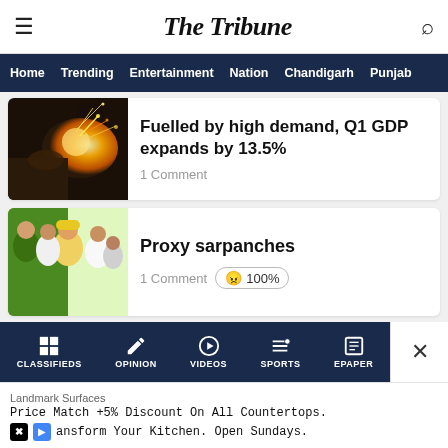The Tribune
Home  Trending  Entertainment  Nation  Chandigarh  Punjab
Fuelled by high demand, Q1 GDP expands by 13.5%
1 Comment
Proxy sarpanches
1 Comment  😠 100%
Show more articles
+ Add Vuukle  🔒 Privacy
CLASSIFIEDS  OPINION  VIDEOS  SPORTS  EPAPER
Landmark Surfaces
Price Match +5% Discount On All Countertops.
Transform Your Kitchen. Open Sundays.